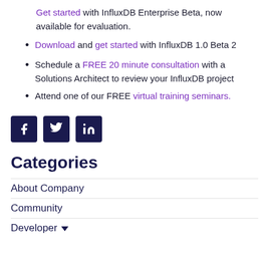Get started with InfluxDB Enterprise Beta, now available for evaluation.
Download and get started with InfluxDB 1.0 Beta 2
Schedule a FREE 20 minute consultation with a Solutions Architect to review your InfluxDB project
Attend one of our FREE virtual training seminars.
[Figure (infographic): Social media icon buttons for Facebook, Twitter, and LinkedIn, dark navy background with white icons]
Categories
About Company
Community
Developer